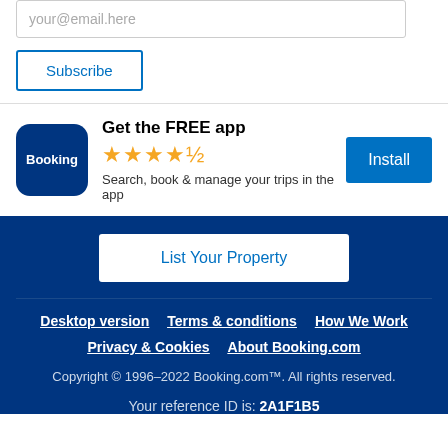your@email.here
Subscribe
Get the FREE app
[Figure (logo): Booking.com app icon — dark blue rounded square with 'Booking' text in white]
★★★★½
Search, book & manage your trips in the app
Install
List Your Property
Desktop version
Terms & conditions
How We Work
Privacy & Cookies
About Booking.com
Copyright © 1996–2022 Booking.com™. All rights reserved.
Your reference ID is: 2A1F1B5